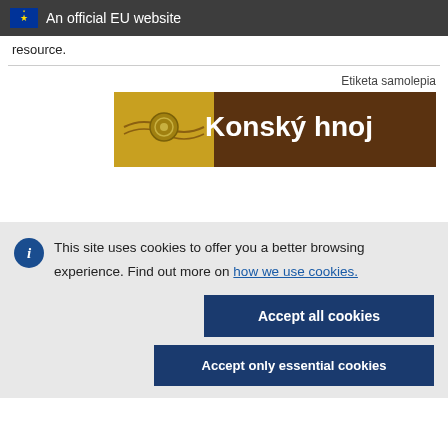An official EU website
resource.
[Figure (illustration): Product label for 'Konský hnoj' - brown label with yellow icon on left and bold white text on brown background]
Etiketa samolepia
This site uses cookies to offer you a better browsing experience. Find out more on how we use cookies.
Accept all cookies
Accept only essential cookies